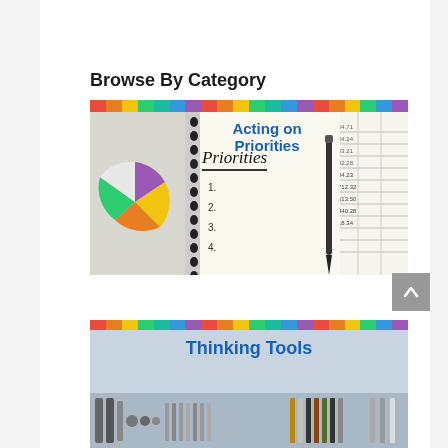Browse By Category
[Figure (photo): Category image showing a priorities notebook with numbered list (1-4), a pie chart on the left, a spreadsheet on the right, and a pen. Text overlay reads 'Acting on Priorities' in blue.]
[Figure (photo): Category image showing tools/wrenches and pens laid out. Text overlay reads 'Thinking Tools' in blue.]